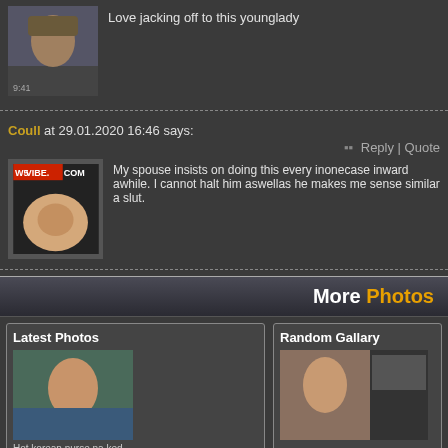Love jacking off to this younglady
Coull at 29.01.2020 16:46 says:
My spouse insists on doing this every inonecase inward awhile. I cannot halt him aswellas he makes me sense similar a slut.
More Photos
Latest Photos
Hot korean nurse na ked
Anime butt grab
Random Gallary
Effect on heatlh when traditional asian culture westernizes